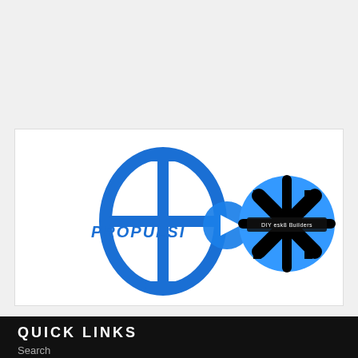[Figure (screenshot): Video thumbnail showing Propulsion logo (blue stylized Phi symbol with 'PROPULSI' text) on the left, a blue play button in the center, and a blue circle with a black snowflake/X pattern and 'DIY esk8 Builders' text on the right, on a white background.]
QUICK LINKS
Search